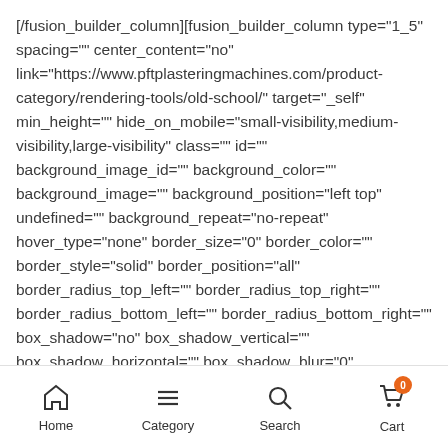[/fusion_builder_column][fusion_builder_column type="1_5" spacing="" center_content="no" link="https://www.pftplasteringmachines.com/product-category/rendering-tools/old-school/" target="_self" min_height="" hide_on_mobile="small-visibility,medium-visibility,large-visibility" class="" id="" background_image_id="" background_color="" background_image="" background_position="left top" undefined="" background_repeat="no-repeat" hover_type="none" border_size="0" border_color="" border_style="solid" border_position="all" border_radius_top_left="" border_radius_top_right="" border_radius_bottom_left="" border_radius_bottom_right="" box_shadow="no" box_shadow_vertical="" box_shadow_horizontal="" box_shadow_blur="0" box_shadow_spread="0" box_shadow_color="" box_shadow_style="" padding_top="" padding_right=""
Home  Category  Search  Cart